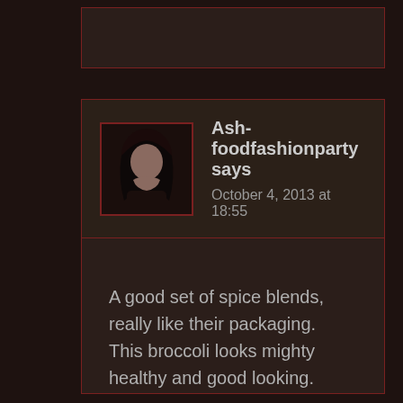[Figure (other): Partial comment block at top, cropped]
Ash-foodfashionparty says
October 4, 2013 at 18:55
A good set of spice blends, really like their packaging.
This broccoli looks mighty healthy and good looking.
Reply